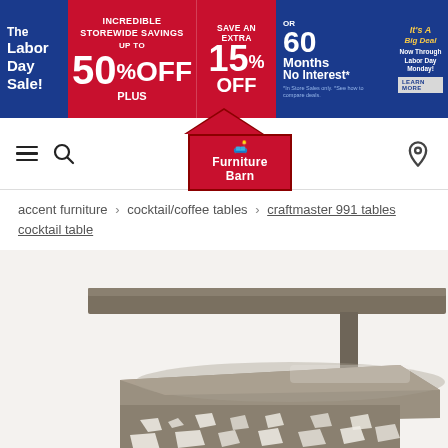[Figure (screenshot): Labor Day Sale banner ad: 'Incredible Storewide Savings Up To 50% OFF PLUS Save An Extra 15% OFF or 60 Months No Interest']
[Figure (logo): Furniture Barn logo with red barn house shape and couch icon]
accent furniture > cocktail/coffee tables > craftmaster 991 tables cocktail table
[Figure (photo): Craftmaster 991 cocktail table - rustic wooden table with geometric cutout details on the sides, grey/brown finish, shown at angle]